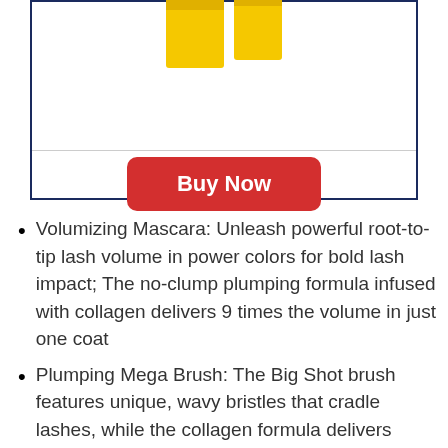[Figure (photo): Two yellow mascara bottles/tubes partially visible at top of a bordered product box]
Buy Now
Volumizing Mascara: Unleash powerful root-to-tip lash volume in power colors for bold lash impact; The no-clump plumping formula infused with collagen delivers 9 times the volume in just one coat
Plumping Mega Brush: The Big Shot brush features unique, wavy bristles that cradle lashes, while the collagen formula delivers